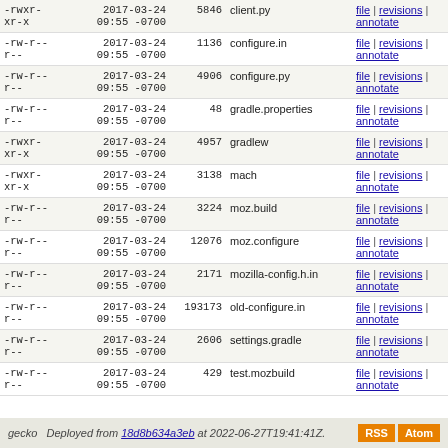| permissions | date | size | filename | links |
| --- | --- | --- | --- | --- |
| -rwxr-xr-x | 2017-03-24 09:55 -0700 | 5846 | client.py | file | revisions | annotate |
| -rw-r--r-- | 2017-03-24 09:55 -0700 | 1136 | configure.in | file | revisions | annotate |
| -rw-r--r-- | 2017-03-24 09:55 -0700 | 4906 | configure.py | file | revisions | annotate |
| -rw-r--r-- | 2017-03-24 09:55 -0700 | 48 | gradle.properties | file | revisions | annotate |
| -rwxr-xr-x | 2017-03-24 09:55 -0700 | 4957 | gradlew | file | revisions | annotate |
| -rwxr-xr-x | 2017-03-24 09:55 -0700 | 3138 | mach | file | revisions | annotate |
| -rw-r--r-- | 2017-03-24 09:55 -0700 | 3224 | moz.build | file | revisions | annotate |
| -rw-r--r-- | 2017-03-24 09:55 -0700 | 12076 | moz.configure | file | revisions | annotate |
| -rw-r--r-- | 2017-03-24 09:55 -0700 | 2171 | mozilla-config.h.in | file | revisions | annotate |
| -rw-r--r-- | 2017-03-24 09:55 -0700 | 193173 | old-configure.in | file | revisions | annotate |
| -rw-r--r-- | 2017-03-24 09:55 -0700 | 2606 | settings.gradle | file | revisions | annotate |
| -rw-r--r-- | 2017-03-24 09:55 -0700 | 429 | test.mozbuild | file | revisions | annotate |
gecko   Deployed from 18d8b634a3eb at 2022-06-27T19:41:41Z.